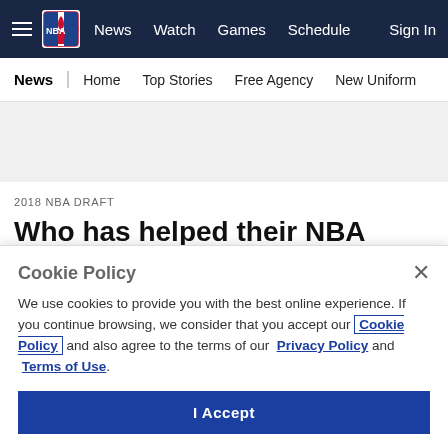NBA | News | Watch | Games | Schedule | Sign In
News | Home | Top Stories | Free Agency | New Uniform
[Figure (other): Gray advertisement/banner placeholder area]
2018 NBA DRAFT
Who has helped their NBA draft stock most in 2018 NCAA
Cookie Policy
We use cookies to provide you with the best online experience. If you continue browsing, we consider that you accept our Cookie Policy and also agree to the terms of our Privacy Policy and Terms of Use.
I Accept